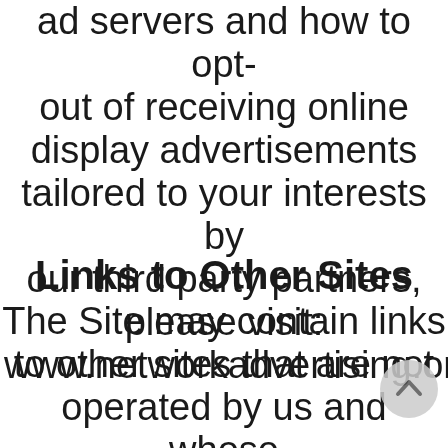ad servers and how to opt-out of receiving online display advertisements tailored to your interests by our third party partners, please visit: www.networkadvertising.org
Links to Other Sites
The Site may contain links to other sites that are not operated by us and whose information practices may be different than ours. You should consult the other sites' privacy notices as we have no control over information that is submitted to, or collected by, these